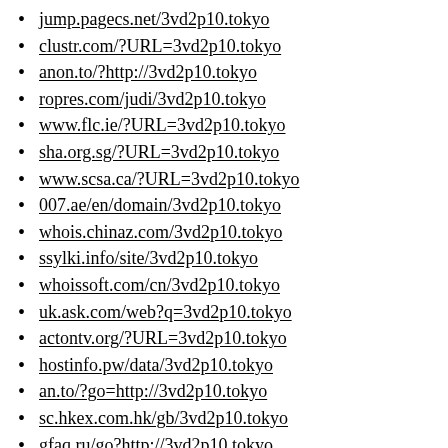jump.pagecs.net/3vd2p10.tokyo
clustr.com/?URL=3vd2p10.tokyo
anon.to/?http://3vd2p10.tokyo
ropres.com/judi/3vd2p10.tokyo
www.flc.ie/?URL=3vd2p10.tokyo
sha.org.sg/?URL=3vd2p10.tokyo
www.scsa.ca/?URL=3vd2p10.tokyo
007.ae/en/domain/3vd2p10.tokyo
whois.chinaz.com/3vd2p10.tokyo
ssylki.info/site/3vd2p10.tokyo
whoissoft.com/cn/3vd2p10.tokyo
uk.ask.com/web?q=3vd2p10.tokyo
actontv.org/?URL=3vd2p10.tokyo
hostinfo.pw/data/3vd2p10.tokyo
an.to/?go=http://3vd2p10.tokyo
sc.hkex.com.hk/gb/3vd2p10.tokyo
gfaq.ru/go?http://3vd2p10.tokyo
popiszmy.pl/redir/3vd2p10.tokyo
redir.me/d?http://3vd2p10.tokyo